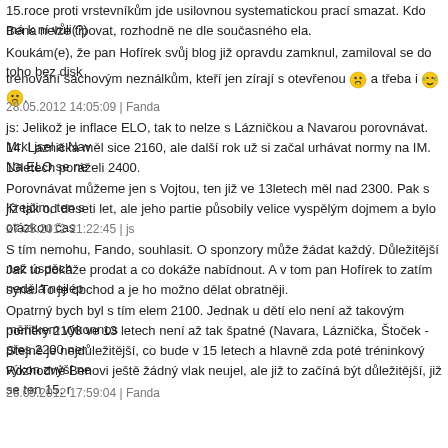15.roce proti vrstevníkům jde usilovnou systematickou prací smazat. Kdo má k ní vůli(?)
Bena nelze tipovat, rozhodně ne dle současného ela.
Koukám(e), že pan Hofírek svůj blog již opravdu zamknul, zamiloval se do toho bez disk
trénování šachovým neználkům, kteří jen zírají s otevřenou 😮 a třeba i 🤑😮🤑.
28.05.2012 14:05:09 | Fanda
js: Jelikož je inflace ELO, tak to nelze s Lázničkou a Navarou porovnávat. Mrkl jsel a Nav
14. Laznička měl sice 2160, ale další rok už si začal urhávat normy na IM. Na ELO se ne
13letech poráželi 2400.
Porovnávat můžeme jen s Vojtou, ten již ve 13letech měl nad 2300. Pak s Krejčim, ten s
již tak od deseti let, ale jeho partie působily velice vyspělým dojmem a bylo otázkou čas
27.05.2012 21:22:45 | js
S tím nemohu, Fando, souhlasit. O sponzory může žádat každý. Důležitější než úspěch
Jak to dokáže prodat a co dokáže nabídnout. A v tom pan Hofírek to zatím nedělá nejlép
syna. To je obchod a je ho možno dělat obratněji.
Opatrný bych byl s tím elem 2100. Jednak u dětí elo není až takovým měřitkem výkonnos
poměry 2100 ve 13 letech není až tak špatné (Navara, Láznička, Štoček - přes 2200 ner
Stejně je nejdůležitější, co bude v 15 letech a hlavně zda poté tréninkový výkon zvýší ne
Rozhodně Benovi ještě žádný vlak neujel, ale již to začíná být důležitější, již se ten 15. r
26.05.2012 17:59:04 | Fanda